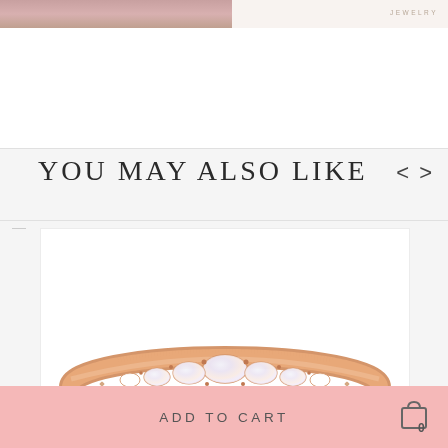[Figure (photo): Top cropped strip showing part of a jewelry/lifestyle photo and the word JEWELRY on the right side]
YOU MAY ALSO LIKE
[Figure (photo): Rose gold ring with white/opal stones set in a wavy prong setting, shown on a white background product card]
MATERIAL: 925 STERLING SILV...
ADD TO CART